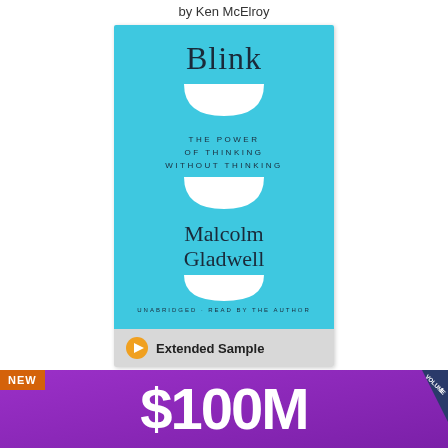by Ken McElroy
[Figure (illustration): Book cover of 'Blink: The Power of Thinking Without Thinking' by Malcolm Gladwell, audiobook edition. Cyan/turquoise background with large serif title 'Blink', subtitle 'THE POWER OF THINKING WITHOUT THINKING', author name 'Malcolm Gladwell', and 'UNABRIDGED - READ BY THE AUTHOR'. Bottom gray bar shows orange play button and 'Extended Sample' text.]
Blink
by Malcolm Gladwell
[Figure (illustration): Bottom of page showing a new book banner: orange 'NEW' badge on left, purple banner with white '$100M' text, and 'VOLUME 1' badge on upper right.]